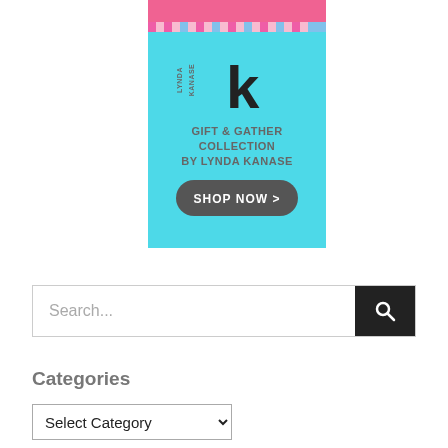[Figure (illustration): Advertisement for Lynda Kanase Gift & Gather Collection. Top portion has a pink background with striped pattern element. Main body has a light blue/cyan background with the Lynda Kanase LK logo, text 'GIFT & GATHER COLLECTION BY LYNDA KANASE', and a dark grey 'SHOP NOW >' button.]
Search...
Categories
Select Category